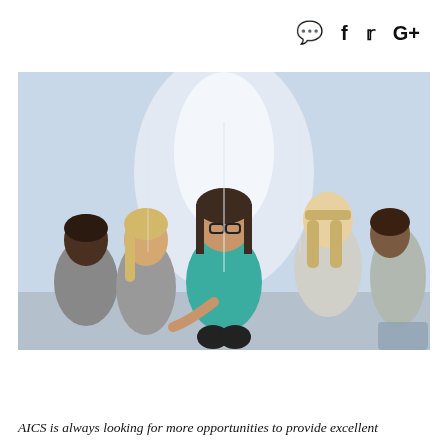[Figure (other): Social media share icons: comment bubble, Facebook f, Twitter bird, Google+]
[Figure (photo): A woman with glasses wearing a teal shirt sits in a circle with a group of people in a bright room, gesturing with her hands as if leading a group discussion.]
AICS is always looking for more opportunities to provide excellent